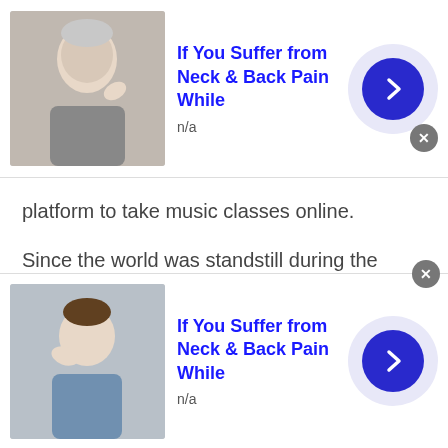[Figure (screenshot): Top advertisement banner: image of elderly man with neck/back pain, title 'If You Suffer from Neck & Back Pain While', subtitle 'n/a', blue arrow button, close button]
platform to take music classes online.
Since the world was standstill during the Covid-19 pandemic, people could not go to parties. The organizers would then simply host digital parties. These watch parties would encourage thousands of people and even introverts to join these parties. Many people from Eritrean chat sites would also enter these parties.
How is talkwithstranger a
[Figure (screenshot): Bottom advertisement banner: image of person with neck/back pain, title 'If You Suffer from Neck & Back Pain While', subtitle 'n/a', blue arrow button, close button]